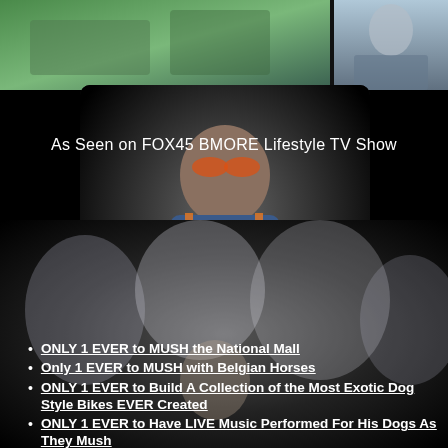[Figure (photo): Top strip showing two photos: left side with green/outdoor scene, right side with person in blue shirt]
[Figure (photo): Man wearing orange sunglasses and colorful vest/jacket, smiling, with dogs in background]
As Seen on FOX45 BMORE Lifestyle TV Show
You are visitor number: 11018
[Figure (photo): Group of white Samoyed and Husky dogs with a small dog in the center]
ONLY 1 EVER  to MUSH the National Mall
Only 1 EVER to MUSH with Belgian Horses
ONLY 1 EVER to Build A Collection of the Most Exotic Dog Style Bikes EVER Created
ONLY 1 EVER to Have LIVE Music Performed For His Dogs As They Mush
ONLY 1 EVER to GHOST Hunt With A Sled